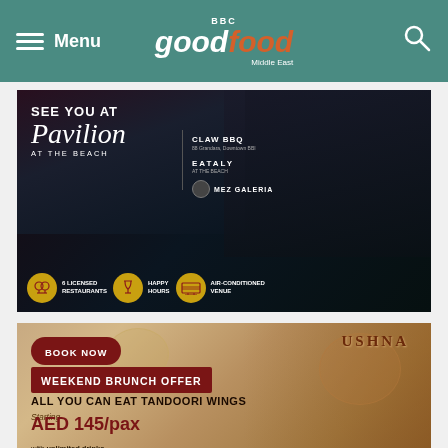BBC Good Food Middle East - Menu / Search navigation
[Figure (photo): Pavilion at the Beach advertisement. Dark background with people socializing at a bar. Text: SEE YOU AT Pavilion at THE BEACH. Logos: CLAW BBQ, EATALY, MEZ GALERIA. Features: 6 LICENSED RESTAURANTS, HAPPY HOURS, AIR-CONDITIONED VENUE.]
[Figure (photo): Ushna restaurant advertisement. Background shows Indian food dishes. Text: BOOK NOW, USHNA logo, WEEKEND BRUNCH OFFER, ALL YOU CAN EAT TANDOORI WINGS, Starting AED 145/pax, with unlimited drinks.]